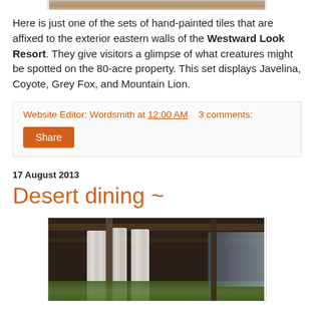[Figure (photo): Top portion of a photo of hand-painted tiles on the exterior wall of Westward Look Resort, partially cropped at the top of the page.]
Here is just one of the sets of hand-painted tiles that are affixed to the exterior eastern walls of the Westward Look Resort. They give visitors a glimpse of what creatures might be spotted on the 80-acre property. This set displays Javelina, Coyote, Grey Fox, and Mountain Lion.
Website Editor: Wordsmith at 12:00 AM    3 comments:
Share
17 August 2013
Desert dining ~
[Figure (photo): Photo of an outdoor desert dining area with white curtains hanging from a covered patio/pergola structure with wooden beams, green vegetation visible in the background.]